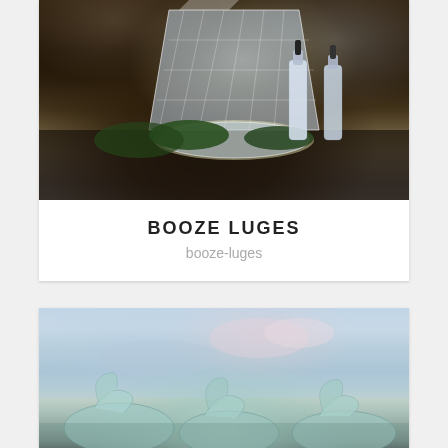[Figure (photo): Ice luge sculpture on a dark table with illuminated crystal base, surrounded by green ferns and wine/vodka bottles]
BOOZE LUGES
booze-luges
[Figure (photo): Ice sculptures of swans against a light blue sky with clouds]